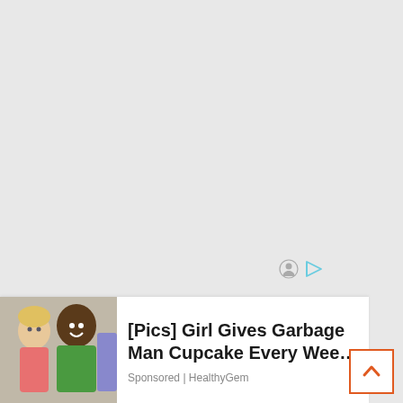[Figure (screenshot): Large light gray blank area occupying most of the upper portion of the page.]
[Figure (infographic): Small ad attribution icons: a face/person icon and a play/arrow icon in muted colors, positioned above the ad banner.]
[Figure (photo): Advertisement banner at the bottom showing a photo of a young blonde girl and a smiling man in a green vest on the left side, with ad headline text on the right.]
[Pics] Girl Gives Garbage Man Cupcake Every Wee…
Sponsored | HealthyGem
[Figure (other): Scroll-to-top button: a white square with an orange/red border containing an upward-pointing chevron arrow, positioned at the bottom right.]